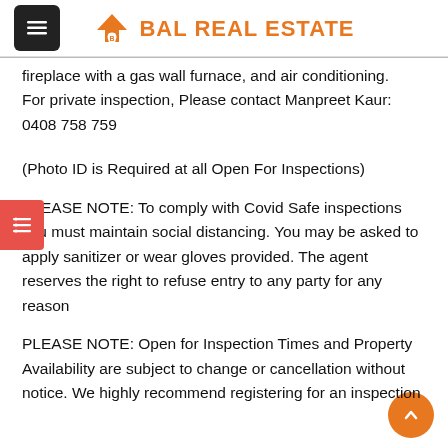BAL REAL ESTATE
fireplace with a gas wall furnace, and air conditioning. For private inspection, Please contact Manpreet Kaur: 0408 758 759
(Photo ID is Required at all Open For Inspections)
PLEASE NOTE: To comply with Covid Safe inspections you must maintain social distancing. You may be asked to apply sanitizer or wear gloves provided. The agent reserves the right to refuse entry to any party for any reason
PLEASE NOTE: Open for Inspection Times and Property Availability are subject to change or cancellation without notice. We highly recommend registering for an inspection